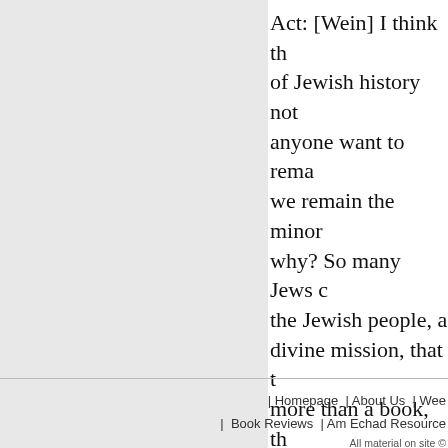Act: [Wein] I think th... of Jewish history not... anyone want to rema... we remain the minor... why? So many Jews c... the Jewish people, a... divine mission, that t... more than a book, th...
BRING UP CHORAL M
RECEIVE THE LATEST BY EMAIL: SUBS...
| Homepage | About Us | Wee... | Book Reviews | Am Echad Resource... All material on site ©